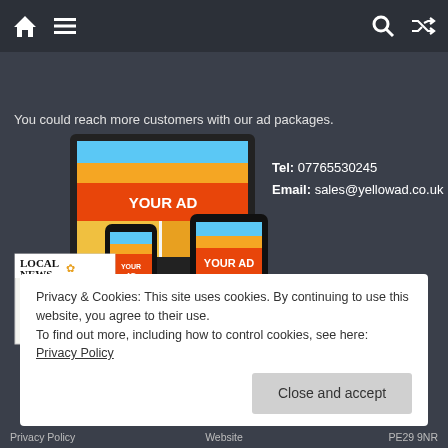home menu search shuffle
You could reach more customers with our ad packages.
[Figure (illustration): Illustration showing ad placements across desktop monitor, smartphone, tablet, and local newspaper with 'YOUR AD' labels]
Tel: 07765530245
Email: sales@yellowad.co.uk
Privacy & Cookies: This site uses cookies. By continuing to use this website, you agree to their use.
To find out more, including how to control cookies, see here: Privacy Policy
Close and accept
Privacy Policy	Website	PE29 9NR